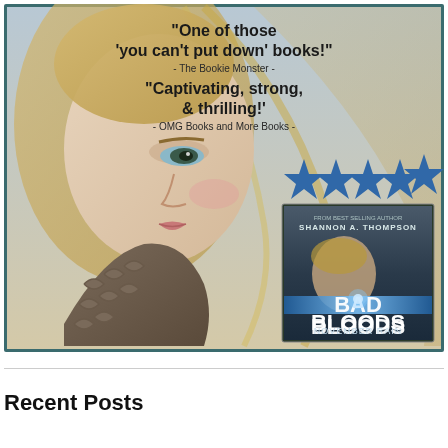[Figure (illustration): Book promotional image for 'Bad Bloods: November Rain' by Shannon A. Thompson. Background shows a young blonde woman wearing a grey knit scarf, looking sideways. Text overlay includes reviews: 'One of those you can't put down books!' - The Bookie Monster - and 'Captivating, strong, & thrilling!' - OMG Books and More Books - with five blue stars. A book cover image is shown in the lower right featuring the same woman and the title 'BAD BLOODS NOVEMBER RAIN' by FROM BEST SELLING AUTHOR SHANNON A. THOMPSON.]
Recent Posts